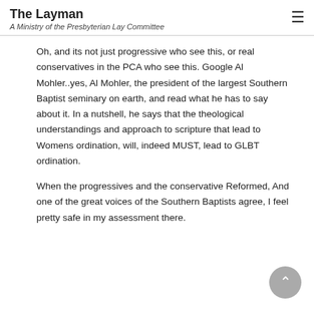The Layman
A Ministry of the Presbyterian Lay Committee
Oh, and its not just progressive who see this, or real conservatives in the PCA who see this. Google Al Mohler..yes, Al Mohler, the president of the largest Southern Baptist seminary on earth, and read what he has to say about it. In a nutshell, he says that the theological understandings and approach to scripture that lead to Womens ordination, will, indeed MUST, lead to GLBT ordination.
When the progressives and the conservative Reformed, And one of the great voices of the Southern Baptists agree, I feel pretty safe in my assessment there.